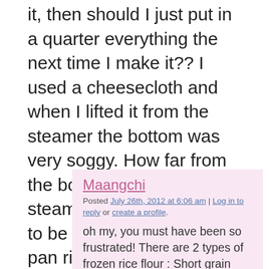it, then should I just put in a quarter everything the next time I make it?? I used a cheesecloth and when I lifted it from the steamer the bottom was very soggy. How far from the bottom pan of the steamer was I supposed to be keep it? I just put my pan right on top of the bottom pot of boiling water…was it too close? Sorry for the long post, but I would really like to know what I did wrong so that I can fix it. Please let me know. Thanks in advance!
Maangchi
Posted July 26th, 2012 at 6:06 am | Log in to reply or create a profile.
oh my, you must have been so frustrated! There are 2 types of frozen rice flour : Short grain rice flour and sweet rice flour. You need short grain rice flour for this recipe. I hope you got right one.